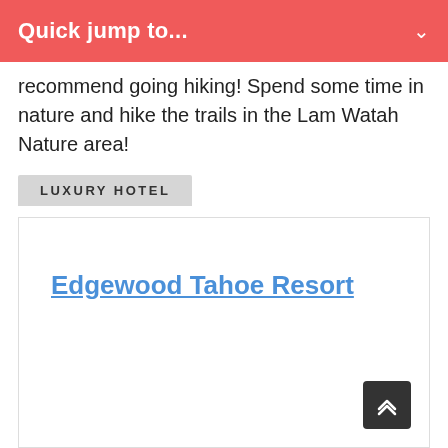Quick jump to...
recommend going hiking! Spend some time in nature and hike the trails in the Lam Watah Nature area!
LUXURY HOTEL
Edgewood Tahoe Resort